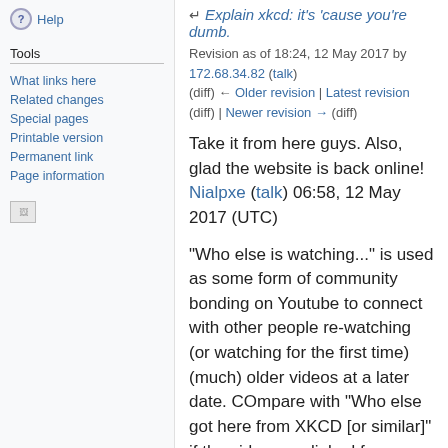Help
Tools
What links here
Related changes
Special pages
Printable version
Permanent link
Page information
[Figure (other): Broken image placeholder]
Explain xkcd: it's 'cause you're dumb.
Revision as of 18:24, 12 May 2017 by 172.68.34.82 (talk) (diff) ← Older revision | Latest revision (diff) | Newer revision → (diff)
Take it from here guys. Also, glad the website is back online! Nialpxe (talk) 06:58, 12 May 2017 (UTC)
"Who else is watching..." is used as some form of community bonding on Youtube to connect with other people re-watching (or watching for the first time) (much) older videos at a later date. COmpare with "Who else got here from XKCD [or similar]" if the video was linked from a particular site and it's users are trying to recognize each other. 162.158.222.76 07:03, 12 May 2017 (UTC)